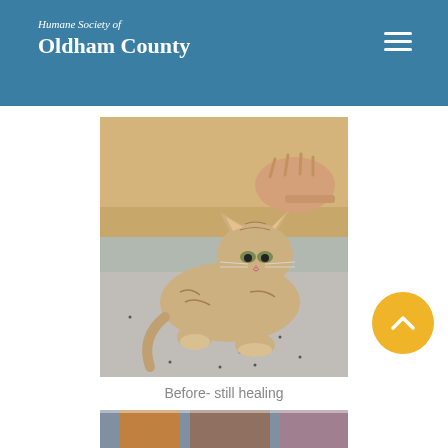Humane Society of Oldham County
[Figure (photo): A tabby kitten being petted by a human hand, sitting on a speckled floor in front of a cardboard box. The kitten appears to be recovering from an injury.]
Before- still healing
[Figure (photo): Partial view of another photo at the bottom of the page, showing what appears to be a cat or kitten in a colorful setting.]